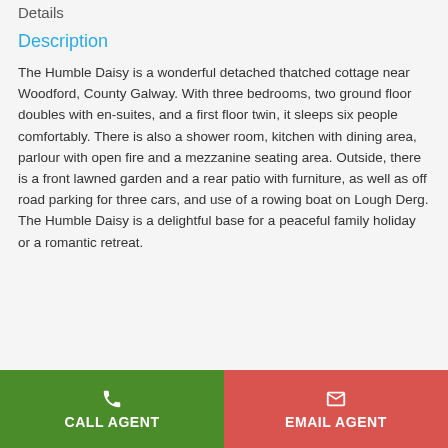Details
Description
The Humble Daisy is a wonderful detached thatched cottage near Woodford, County Galway. With three bedrooms, two ground floor doubles with en-suites, and a first floor twin, it sleeps six people comfortably. There is also a shower room, kitchen with dining area, parlour with open fire and a mezzanine seating area. Outside, there is a front lawned garden and a rear patio with furniture, as well as off road parking for three cars, and use of a rowing boat on Lough Derg. The Humble Daisy is a delightful base for a peaceful family holiday or a romantic retreat.
CALL AGENT | EMAIL AGENT